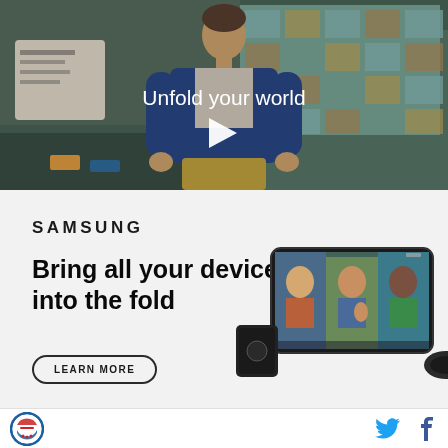[Figure (photo): Video thumbnail showing a young man in a denim jacket walking in a cafeteria/food court setting with blue tiled windows in background. Text overlay reads 'Unfold your world' with a white play button icon.]
[Figure (logo): Samsung logo in bold black uppercase letters]
Bring all your devices into the fold
LEARN MORE
[Figure (photo): Samsung devices including a foldable phone showing a video conference with three people smiling, plus other Samsung hardware devices]
[Figure (logo): Circular badge logo with red/blue design at bottom left]
[Figure (other): Twitter bird icon and Facebook f icon in blue at bottom right]